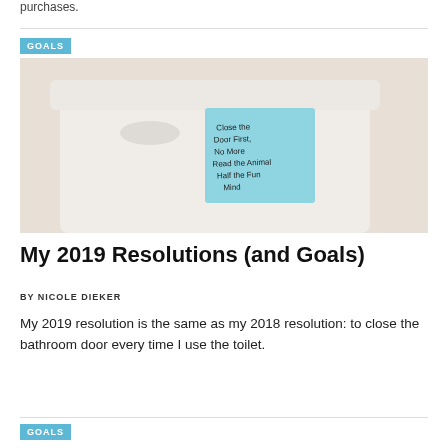purchases.
[Figure (photo): A toilet tank with a blue sticky note attached to it. The handwritten note reads: 'Close the Door First, No More Read the Animal, Half the Fun Mind']
My 2019 Resolutions (and Goals)
BY NICOLE DIEKER
My 2019 resolution is the same as my 2018 resolution: to close the bathroom door every time I use the toilet.
GOALS